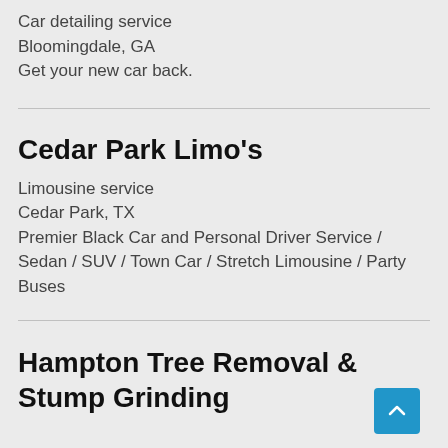Car detailing service
Bloomingdale, GA
Get your new car back.
Cedar Park Limo's
Limousine service
Cedar Park, TX
Premier Black Car and Personal Driver Service / Sedan / SUV / Town Car / Stretch Limousine / Party Buses
Hampton Tree Removal & Stump Grinding